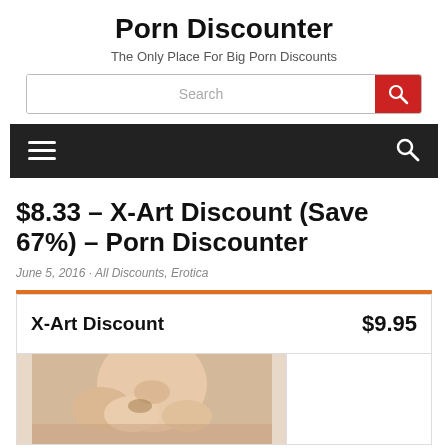Porn Discounter
The Only Place For Big Porn Discounts
Search
$8.33 – X-Art Discount (Save 67%) – Porn Discounter
June 5, 2016 · All Discounts, Erotica
| X-Art Discount | $9.95 |
| --- | --- |